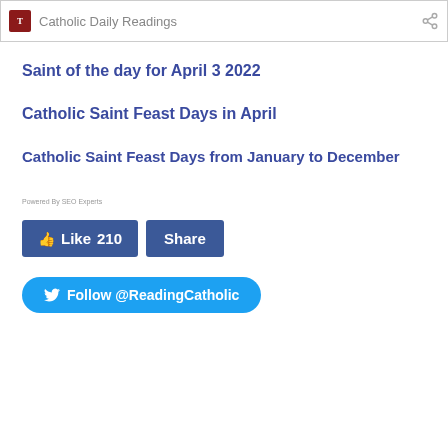Catholic Daily Readings
Saint of the day for April 3 2022
Catholic Saint Feast Days in April
Catholic Saint Feast Days from January to December
Powered By SEO Experts
[Figure (screenshot): Facebook Like button showing 210 likes and a Share button, both in blue]
[Figure (screenshot): Twitter Follow button for @ReadingCatholic in blue rounded pill shape]